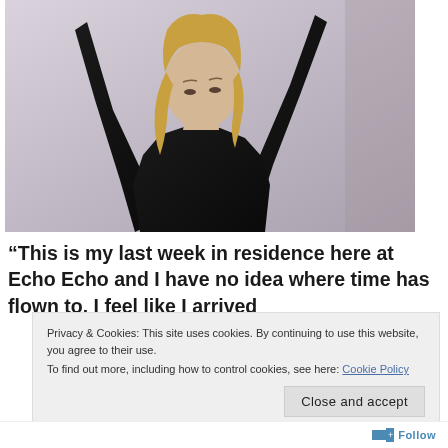[Figure (photo): A woman with long blonde hair wearing a black long-sleeve top, arms raised above her head, looking downward, photographed against a light grey background.]
“This is my last week in residence here at Echo Echo and I have no idea where time has flown to. I feel like I arrived
Privacy & Cookies: This site uses cookies. By continuing to use this website, you agree to their use.
To find out more, including how to control cookies, see here: Cookie Policy
Close and accept